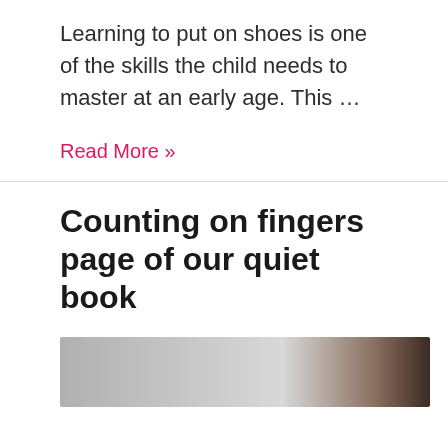Learning to put on shoes is one of the skills the child needs to master at an early age. This …
Read More »
Counting on fingers page of our quiet book
[Figure (photo): Partial view of a dark wooden surface and grey background, article thumbnail image]